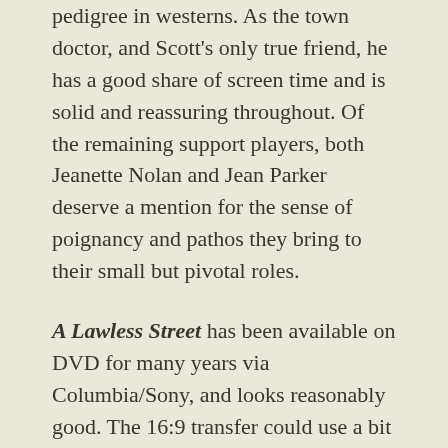pedigree in westerns. As the town doctor, and Scott's only true friend, he has a good share of screen time and is solid and reassuring throughout. Of the remaining support players, both Jeanette Nolan and Jean Parker deserve a mention for the sense of poignancy and pathos they bring to their small but pivotal roles.
A Lawless Street has been available on DVD for many years via Columbia/Sony, and looks reasonably good. The 16:9 transfer could use a bit more sharpness and some minor work but it's quite acceptable as it stands. In my opinion, this film is as near the top tier of Scott westerns as makes no difference. The theme, built around a standard genre plot, is rich and has the kind of depth which makes it a pleasure to revisit. The direction by Joseph H Lewis has the pace, the eye for composition and the stylistic flourishes that make his work a